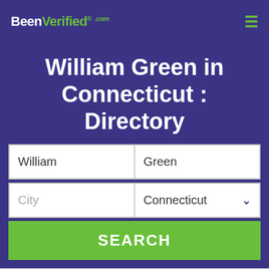BeenVerified.com
William Green in Connecticut : Directory
[Figure (screenshot): Search form with fields: William (first name), Green (last name), City (placeholder), Connecticut (state dropdown with chevron), and a green SEARCH button]
Accessibility